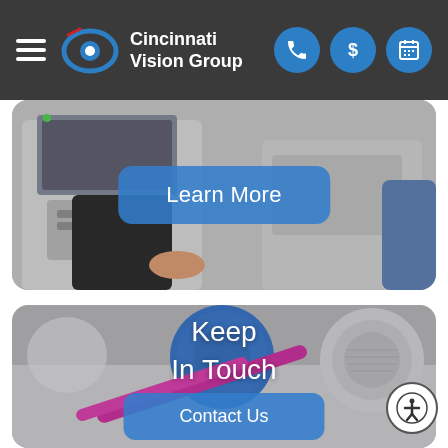Cincinnati Vision Group
[Figure (photo): Medical eye examination equipment with a hand adjusting a control, shown in a rounded rectangular frame with a 'Learn More' button overlay]
[Figure (photo): Contact lens case and lens tube/applicator on a white surface with 'Keep In Touch' text overlay and a 'Contact Us' button]